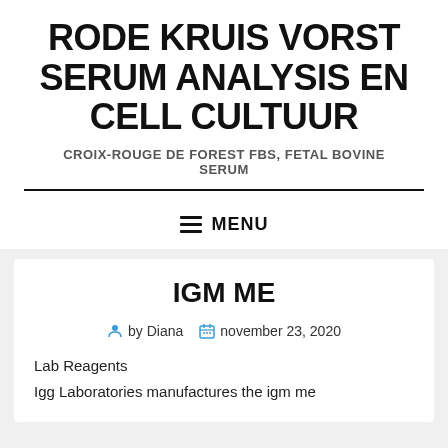RODE KRUIS VORST SERUM ANALYSIS EN CELL CULTUUR
CROIX-ROUGE DE FOREST FBS, FETAL BOVINE SERUM
≡ MENU
IGM ME
by Diana  november 23, 2020
Lab Reagents
Igg Laboratories manufactures the igm me